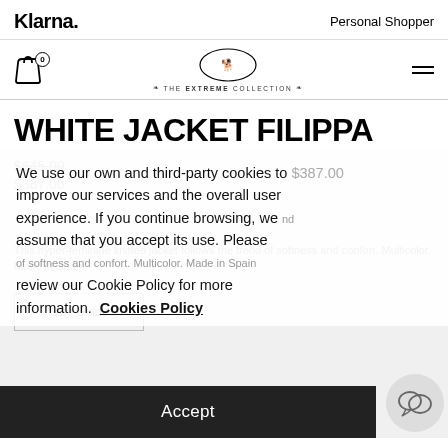Klarna.   Personal Shopper
[Figure (logo): THE EXTREME COLLECTION brand logo with dog silhouette inside oval]
WHITE JACKET FILIPPA
$645.00 (strikethrough price)
We use our own and third-party cookies to improve our services and the overall user experience. If you continue browsing, we assume that you accept its use. Please review our Cookie Policy for more information.  Cookies Policy
$387.00
This hyper-feminine knitted jacket follows the trend of softness and confort. Multicolor. Made in Spain
Size Guide
Accept
Size: No selection